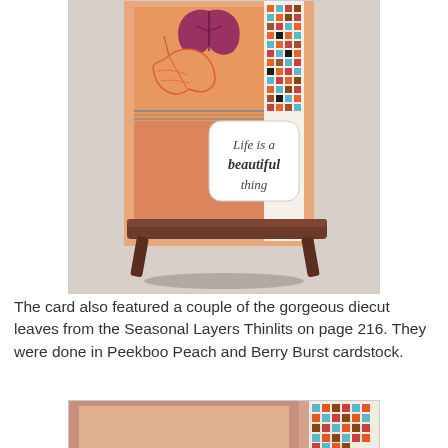[Figure (photo): A handmade greeting card displayed on a small wooden bench stand. The card features autumn maple leaves in orange and purple/berry colors, a mosaic/grid patterned paper strip on the right side, and a sentiment tag reading 'Life is a beautiful thing' in script lettering. The card has a warm peach/orange background.]
The card also featured a couple of the gorgeous diecut leaves from the Seasonal Layers Thinlits on page 216. They were done in Peekboo Peach and Berry Burst cardstock.
[Figure (photo): Partial view of a handmade card showing peach/pink cardstock layers and a mosaic patterned paper strip on the right side with teal, orange, and brown squares.]